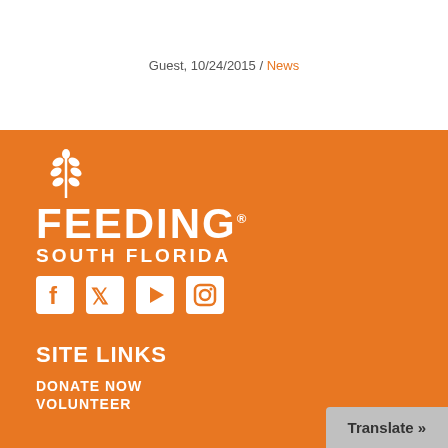Guest, 10/24/2015 / News
[Figure (logo): Feeding South Florida logo with wheat icon and social media icons (Facebook, Twitter, YouTube, Instagram) on orange background]
SITE LINKS
DONATE NOW
VOLUNTEER